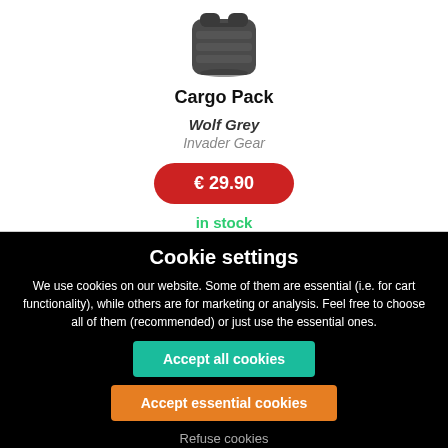[Figure (photo): Dark grey quilted cargo pack/backpack product photo on white background]
Cargo Pack
Wolf Grey
Invader Gear
€ 29.90
in stock
Cookie settings
We use cookies on our website. Some of them are essential (i.e. for cart functionality), while others are for marketing or analysis. Feel free to choose all of them (recommended) or just use the essential ones.
Accept all cookies
Accept essential cookies
Refuse cookies